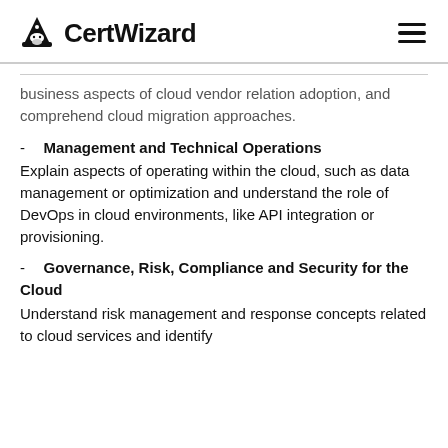CertWizard
business aspects of cloud vendor relation adoption, and comprehend cloud migration approaches.
Management and Technical Operations – Explain aspects of operating within the cloud, such as data management or optimization and understand the role of DevOps in cloud environments, like API integration or provisioning.
Governance, Risk, Compliance and Security for the Cloud – Understand risk management and response concepts related to cloud services and identify